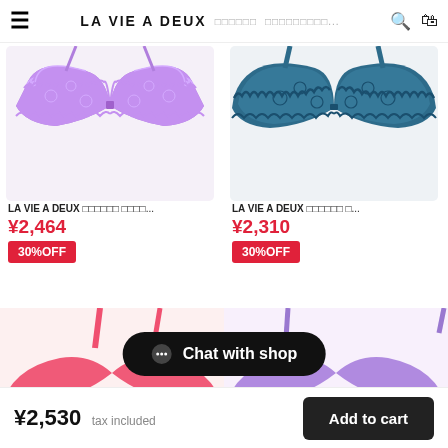≡  LA VIE A DEUX  　　　　　　　　...  🔍  🛒
[Figure (photo): Purple lace bra product photo]
LA VIE A DEUX　ラベアドゥー　ブラジャー...
¥2,464
30%OFF
[Figure (photo): Teal/dark blue lace bra product photo]
LA VIE A DEUX　ラベアドゥー　ブ...
¥2,310
30%OFF
[Figure (photo): Pink/coral lace bra product photo (partially visible)]
[Figure (photo): Purple lace bra product photo (partially visible)]
Chat with shop
¥2,530  tax included    Add to cart